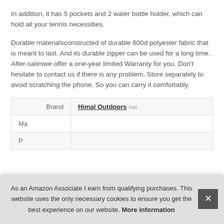In addition, it has 5 pockets and 2 water bottle holder, which can hold all your tennis necessities.
Durable materialsconstructed of durable 600d polyester fabric that is meant to last. And its durable zipper can be used for a long time. After-saleswe offer a one-year limited Warranty for you. Don't hesitate to contact us if there is any problem. Store separately to avoid scratching the phone. So you can carry it comfortably.
|  |  |
| --- | --- |
| Brand | Himal Outdoors #ad |
| Ma |  |
| P |  |
As an Amazon Associate I earn from qualifying purchases. This website uses the only necessary cookies to ensure you get the best experience on our website. More information